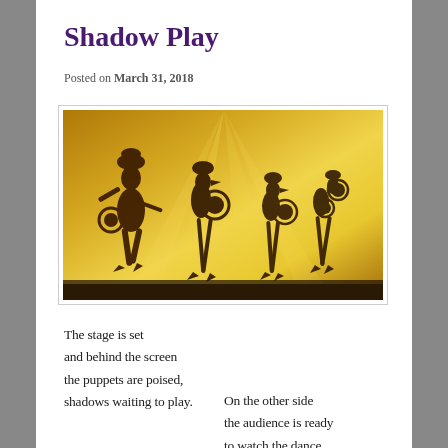Shadow Play
Posted on March 31, 2018
[Figure (photo): Shadow puppets (wayang) silhouetted against a golden backlit screen, showing four puppet figures with ornate circular decorations on sticks]
The stage is set
and behind the screen
the puppets are poised,
shadows waiting to play.
On the other side
the audience is ready
to watch the dance